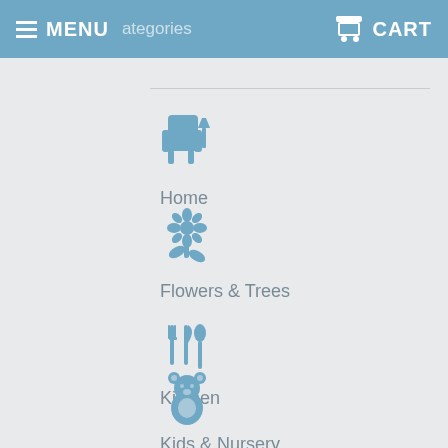MENU   CART
Home
Flowers & Trees
Kitchen
Kids & Nursery